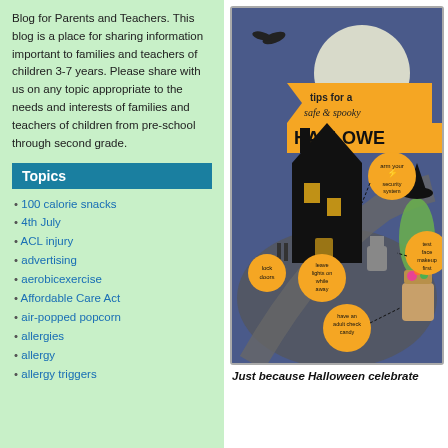Blog for Parents and Teachers. This blog is a place for sharing information important to families and teachers of children 3-7 years. Please share with us on any topic appropriate to the needs and interests of families and teachers of children from pre-school through second grade.
Topics
100 calorie snacks
4th July
ACL injury
advertising
aerobicexercise
Affordable Care Act
air-popped popcorn
allergies
allergy
allergy triggers
[Figure (infographic): Halloween safety infographic titled 'tips for a safe & spooky HALLOWEEN' showing a haunted house at night with orange circular tip bubbles: arm your security system, test face makeup first, lock doors, leave lights on while away, have an adult check candy]
Just because Halloween celebrate